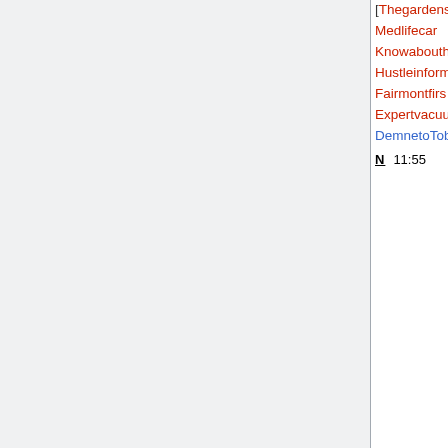[Thegardenstyle; Medlifecan; Knowabouthome; Hustleinformer; Fairmontfirs; Expertvacuumcleanerreview; DemnetoTobrel]
N 11:55 User talk:Knowabouthome (diff | hist) . . (+2,821) . . Knowabouthome (talk | contribs) (Created page with """How to Deep Clean Your Bedroom '"' Your bedroom is the first place you see when you wake up and the last place you see when you go to bed. It's a personal space, so it's...")